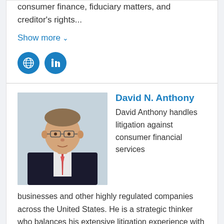consumer finance, fiduciary matters, and creditor's rights...
Show more ∨
[Figure (illustration): Globe icon (website link) and LinkedIn icon — two circular blue social/web link buttons]
[Figure (photo): Professional headshot of David N. Anthony, a middle-aged man with glasses wearing a dark suit and red tie, photographed against a light blue/grey background]
David N. Anthony
David Anthony handles litigation against consumer financial services businesses and other highly regulated companies across the United States. He is a strategic thinker who balances his extensive litigation experience with practical business advice to solve